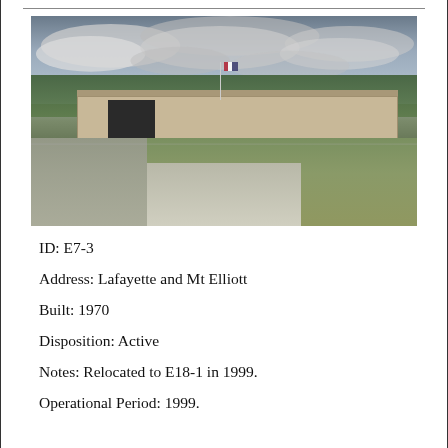[Figure (photo): Exterior photograph of a low-rise fire station building with a flat roof, garage bay visible on the left, American flag on a pole, surrounded by trees and grass, with a concrete driveway and sidewalk in the foreground. Overcast sky.]
ID: E7-3
Address: Lafayette and Mt Elliott
Built: 1970
Disposition: Active
Notes: Relocated to E18-1 in 1999.
Operational Period: 1999.